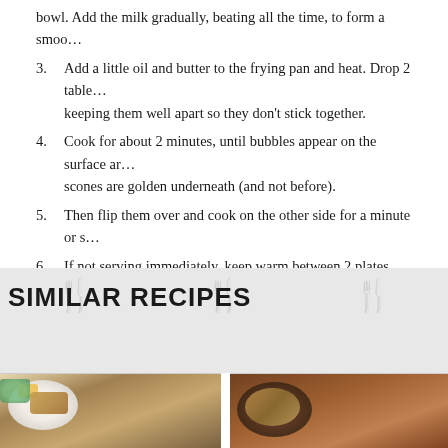bowl. Add the milk gradually, beating all the time, to form a smooth batter.
Add a little oil and butter to the frying pan and heat. Drop 2 tablespoons of batter into the pan keeping them well apart so they don’t stick together.
Cook for about 2 minutes, until bubbles appear on the surface and the scones are golden underneath (and not before).
Then flip them over and cook on the other side for a minute or so.
If not serving immediately, keep warm between 2 plates over a saucepan of simmering water, with a layer of parchment paper between scones.
SERVING
Serve with double cream and fresh berries.
SIMILAR RECIPES
[Figure (photo): Photo of scone on white plate with butter on teal dish]
[Figure (photo): Photo of baked scone/bread in dark pan]